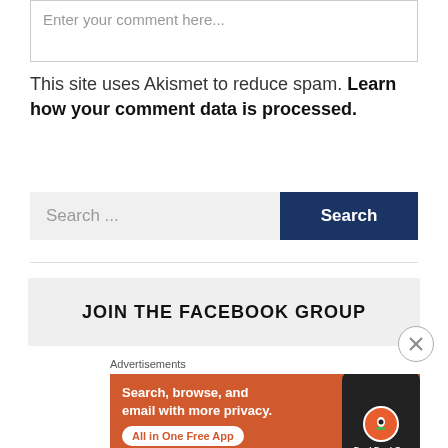Enter your comment here...
This site uses Akismet to reduce spam. Learn how your comment data is processed.
Search ...
JOIN THE FACEBOOK GROUP
Advertisements
[Figure (screenshot): DuckDuckGo advertisement: orange background with phone showing DuckDuckGo app. Text reads 'Search, browse, and email with more privacy. All in One Free App']